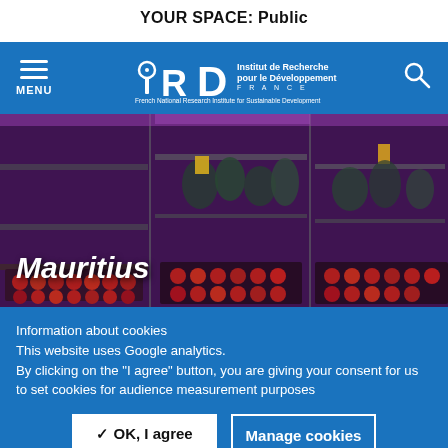YOUR SPACE: Public
[Figure (screenshot): IRD (Institut de Recherche pour le Développement) navigation bar with hamburger menu on left, IRD logo in center, and search icon on right, on blue background]
[Figure (photo): Laboratory growing facility with plants under purple/pink LED lighting, trays of small red-capped specimen containers on shelving units. Title 'Mauritius' overlaid in bold italic white text.]
Information about cookies
This website uses Google analytics.
By clicking on the "I agree" button, you are giving your consent for us to set cookies for audience measurement purposes
✓ OK, I agree
Manage cookies